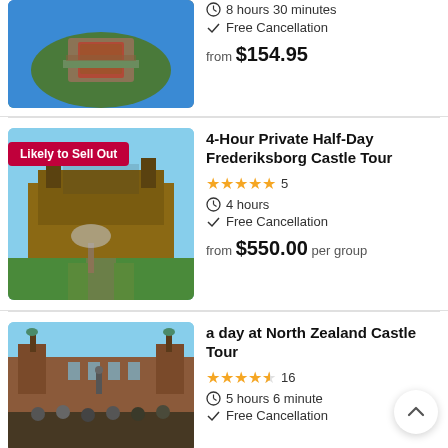[Figure (photo): Aerial view of a coastal fortress surrounded by water, with red-roofed buildings]
8 hours 30 minutes
Free Cancellation
from $154.95
[Figure (photo): Frederiksborg Castle with formal gardens and fountain in foreground, badge: Likely to Sell Out]
4-Hour Private Half-Day Frederiksborg Castle Tour
5 stars, 5 reviews
4 hours
Free Cancellation
from $550.00 per group
[Figure (photo): Frederiksborg Castle exterior with statue and group of tourists in foreground]
a day at North Zealand Castle Tour
4.5 stars, 16 reviews
5 hours 6 minutes
Free Cancellation